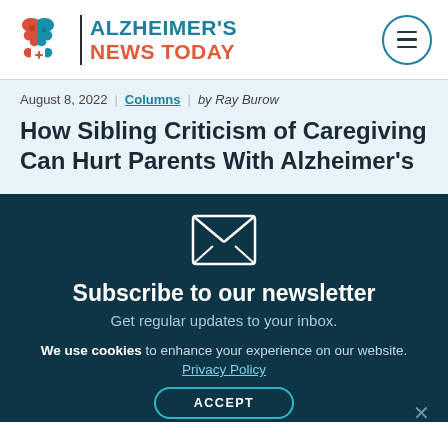[Figure (logo): Alzheimer's News Today logo with two puzzle-piece brain figures in red and teal, vertical divider, and bold text ALZHEIMER'S NEWS TODAY]
August 8, 2022 | Columns | by Ray Burow
How Sibling Criticism of Caregiving Can Hurt Parents With Alzheimer's
[Figure (illustration): Envelope icon (white outline on dark teal background)]
Subscribe to our newsletter
Get regular updates to your inbox.
We use cookies to enhance your experience on our website.
Privacy Policy
ACCEPT